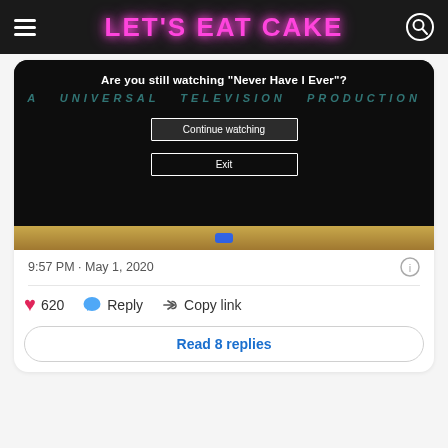LET'S EAT CAKE
[Figure (screenshot): Netflix 'Are you still watching Never Have I Ever?' prompt screen on a TV, showing Continue watching and Exit buttons over a dark background with Universal Television Production text]
9:57 PM · May 1, 2020
620  Reply  Copy link
Read 8 replies